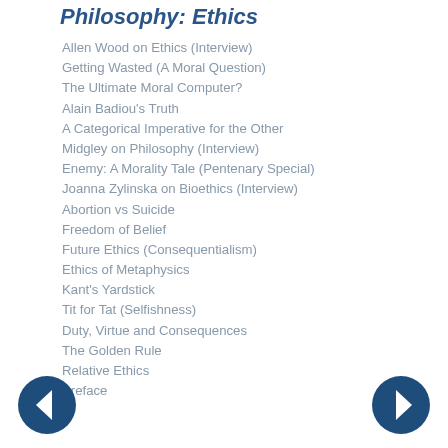Philosophy: Ethics
Allen Wood on Ethics (Interview)
Getting Wasted (A Moral Question)
The Ultimate Moral Computer?
Alain Badiou's Truth
A Categorical Imperative for the Other
Midgley on Philosophy (Interview)
Enemy: A Morality Tale (Pentenary Special)
Joanna Zylinska on Bioethics (Interview)
Abortion vs Suicide
Freedom of Belief
Future Ethics (Consequentialism)
Ethics of Metaphysics
Kant's Yardstick
Tit for Tat (Selfishness)
Duty, Virtue and Consequences
The Golden Rule
Relative Ethics
Preface